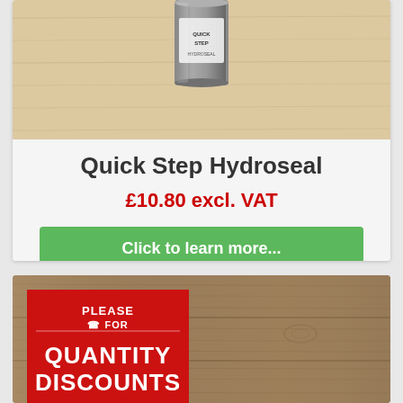[Figure (photo): Photo of a Quick Step Hydroseal product can on light wood flooring surface]
Quick Step Hydroseal
£10.80 excl. VAT
Click to learn more...
[Figure (photo): Dark brown wood flooring texture with a red ribbon badge overlaid reading PLEASE FOR QUANTITY DISCOUNTS]